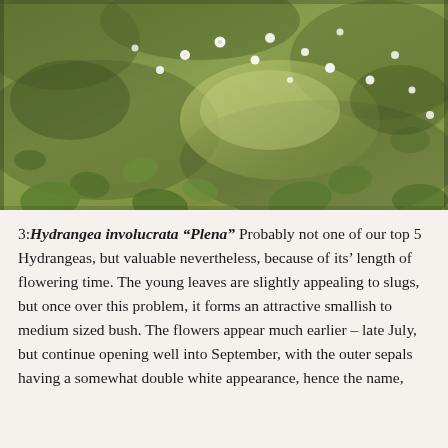[Figure (photo): Outdoor photograph of a hillside or garden ground covered in dense green foliage with small white flowers scattered throughout, viewed from above at an angle.]
3: Hydrangea involucrata "Plena" Probably not one of our top 5 Hydrangeas, but valuable nevertheless, because of its' length of flowering time. The young leaves are slightly appealing to slugs, but once over this problem, it forms an attractive smallish to medium sized bush. The flowers appear much earlier – late July, but continue opening well into September, with the outer sepals having a somewhat double white appearance, hence the name,